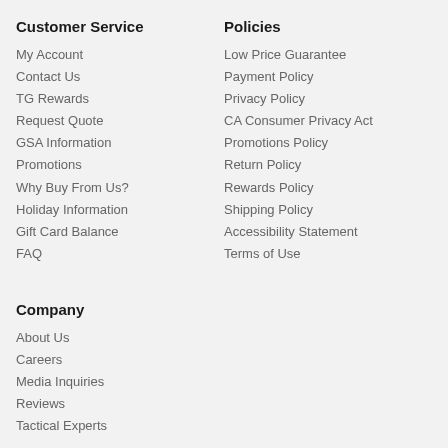Customer Service
My Account
Contact Us
TG Rewards
Request Quote
GSA Information
Promotions
Why Buy From Us?
Holiday Information
Gift Card Balance
FAQ
Policies
Low Price Guarantee
Payment Policy
Privacy Policy
CA Consumer Privacy Act
Promotions Policy
Return Policy
Rewards Policy
Shipping Policy
Accessibility Statement
Terms of Use
Company
About Us
Careers
Media Inquiries
Reviews
Tactical Experts